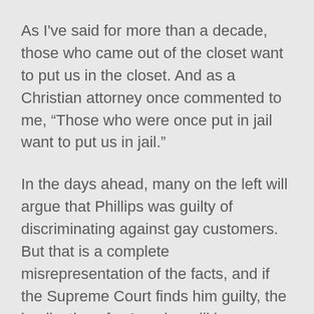As I've said for more than a decade, those who came out of the closet want to put us in the closet. And as a Christian attorney once commented to me, “Those who were once put in jail want to put us in jail.”
In the days ahead, many on the left will argue that Phillips was guilty of discriminating against gay customers. But that is a complete misrepresentation of the facts, and if the Supreme Court finds him guilty, the implications for America will be massive.
It will mean that the highest court in the land